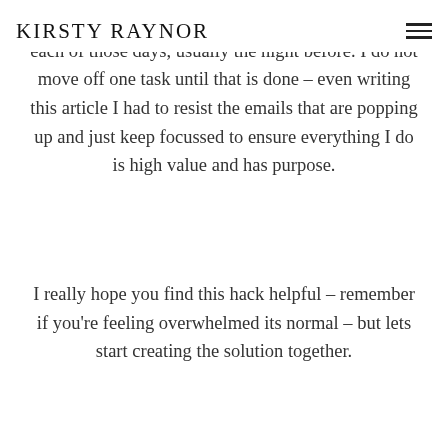KIRSTY RAYNOR
write down the top 6 things that need to be done on each of those days, usually the night before. I do not move off one task until that is done – even writing this article I had to resist the emails that are popping up and just keep focussed to ensure everything I do is high value and has purpose.
I really hope you find this hack helpful – remember if you're feeling overwhelmed its normal – but lets start creating the solution together.